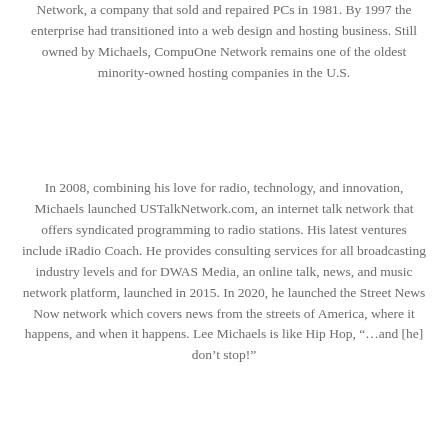Network, a company that sold and repaired PCs in 1981. By 1997 the enterprise had transitioned into a web design and hosting business. Still owned by Michaels, CompuOne Network remains one of the oldest minority-owned hosting companies in the U.S.
In 2008, combining his love for radio, technology, and innovation, Michaels launched USTalkNetwork.com, an internet talk network that offers syndicated programming to radio stations. His latest ventures include iRadio Coach. He provides consulting services for all broadcasting industry levels and for DWAS Media, an online talk, news, and music network platform, launched in 2015. In 2020, he launched the Street News Now network which covers news from the streets of America, where it happens, and when it happens. Lee Michaels is like Hip Hop, “…and [he] don’t stop!”